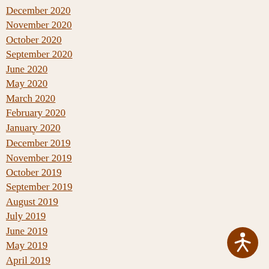December 2020
November 2020
October 2020
September 2020
June 2020
May 2020
March 2020
February 2020
January 2020
December 2019
November 2019
October 2019
September 2019
August 2019
July 2019
June 2019
May 2019
April 2019
March 2019
[Figure (illustration): Accessibility icon: a circular brown badge with a white figure representing a person with arms outstretched]